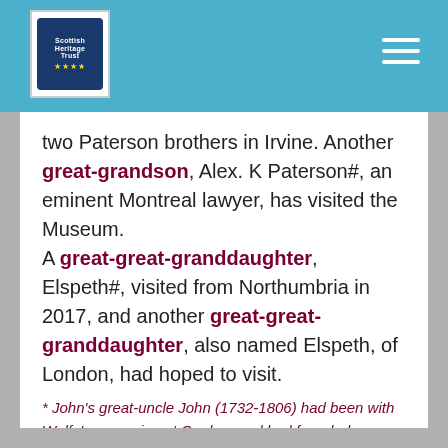Scottish Heritage | Navigation
two Paterson brothers in Irvine. Another great-grandson, Alex. K Paterson#, an eminent Montreal lawyer, has visited the Museum. A great-great-granddaughter, Elspeth#, visited from Northumbria in 2017, and another great-great-granddaughter, also named Elspeth, of London, had hoped to visit.
* John's great-uncle John (1732-1806) had been with Wolfe's campaign at Quebec and had founded Paterson & Co in Quebec City. (# these two have both contributed to our information)